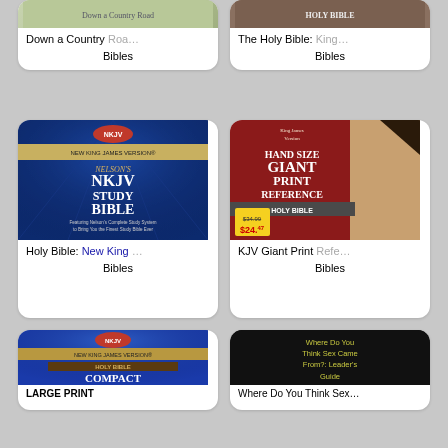[Figure (illustration): Top partial card left: Down a Country Road book cover]
Down a Country Roa…
Bibles
[Figure (illustration): Top partial card right: The Holy Bible King James Version cover]
The Holy Bible: King…
Bibles
[Figure (illustration): Nelson's NKJV Study Bible book cover, blue background]
Holy Bible: New King…
Bibles
[Figure (illustration): Hand Size Giant Print Reference Holy Bible KJV, red cover with price tag $24.47]
KJV Giant Print Refe…
Bibles
[Figure (illustration): NKJV Holy Bible Compact Large Print, blue cover]
[Figure (illustration): Where Do You Think Sex Came From?: Leader's Guide, black cover with yellow/green text]